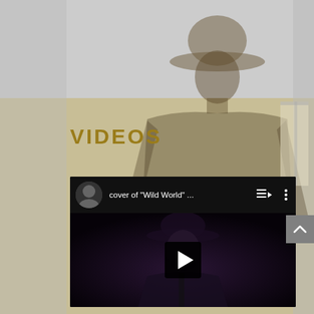[Figure (screenshot): Website page section showing 'VIDEOS' heading on a tan/khaki background with a shadowy silhouette figure, and an embedded YouTube player showing a cover of 'Wild World' video with a person in a hat visible in the dark thumbnail. A scroll-up button appears on the right side.]